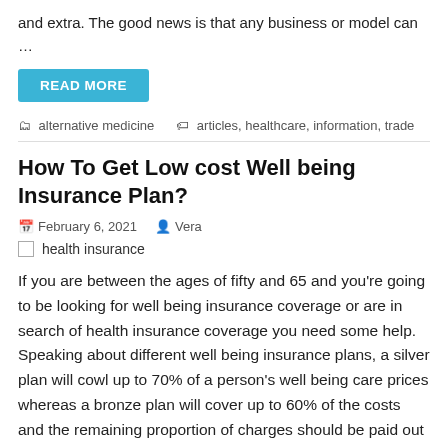and extra. The good news is that any business or model can …
READ MORE
alternative medicine   articles, healthcare, information, trade
How To Get Low cost Well being Insurance Plan?
February 6, 2021   Vera
health insurance
If you are between the ages of fifty and 65 and you're going to be looking for well being insurance coverage or are in search of health insurance coverage you need some help. Speaking about different well being insurance plans, a silver plan will cowl up to 70% of a person's well being care prices whereas a bronze plan will cover up to 60% of the costs and the remaining proportion of charges should be paid out of the